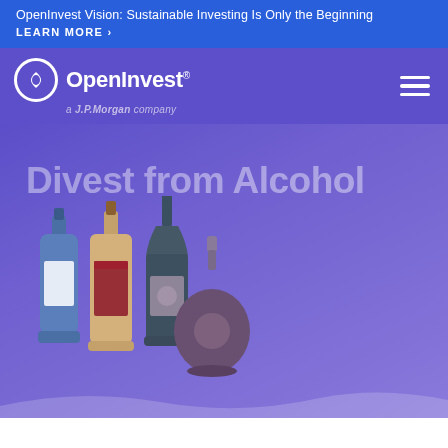OpenInvest Vision: Sustainable Investing Is Only the Beginning LEARN MORE ›
[Figure (logo): OpenInvest logo with circle icon and 'a J.P.Morgan company' tagline, with hamburger menu icon]
Divest from Alcohol
[Figure (illustration): Illustration of several alcohol bottles in muted purple, blue, tan, and dark teal colors arranged as a group]